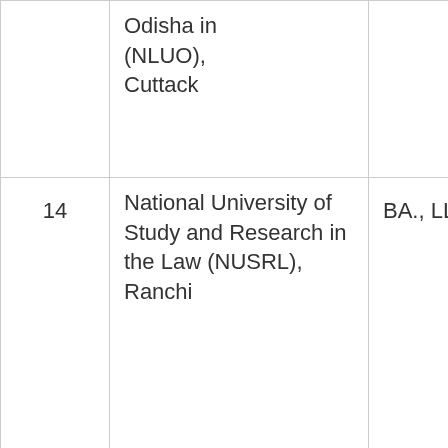| No. | University | Degree |
| --- | --- | --- |
|  | Odisha in (NLUO), Cuttack |  |
| 14 | National University of Study and Research in the Law (NUSRL), Ranchi | BA., LL.B. |
| 15 | National Law University and | BA., LL.B. |